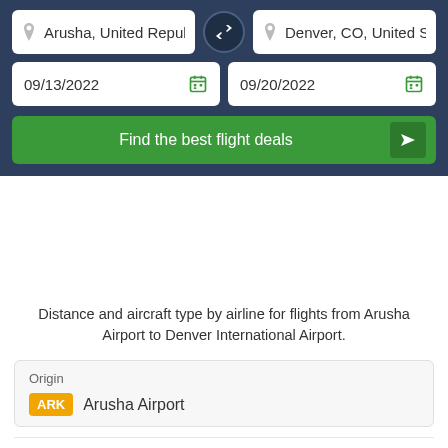Arusha, United Republic
Denver, CO, United Sta
09/13/2022
09/20/2022
Find the best flight deals
Distance and aircraft type by airline for flights from Arusha Airport to Denver International Airport.
Origin
ARK  Arusha Airport
Destination